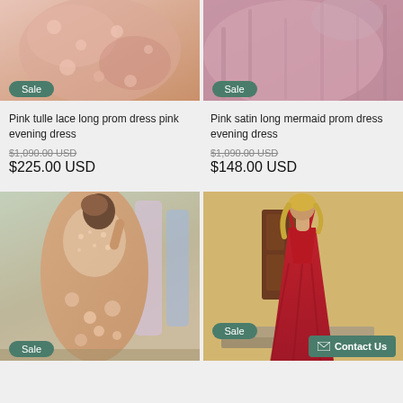[Figure (photo): Pink tulle lace long prom dress - top portion showing upper body and neckline detail, with a teal Sale badge]
[Figure (photo): Pink satin long mermaid prom dress - top portion showing the skirt fabric, with a teal Sale badge]
Pink tulle lace long prom dress pink evening dress
Pink satin long mermaid prom dress evening dress
$1,090.00 USD (strikethrough original price)
$225.00 USD
$1,090.00 USD (strikethrough original price)
$148.00 USD
[Figure (photo): Rose gold mermaid prom dress with lace appliques, worn by a woman taking a mirror selfie in a dress shop, with a teal Sale badge]
[Figure (photo): Red ball gown prom dress with V-neckline and spaghetti straps, worn by a blonde woman standing outdoors, with a teal Sale badge and Contact Us button]